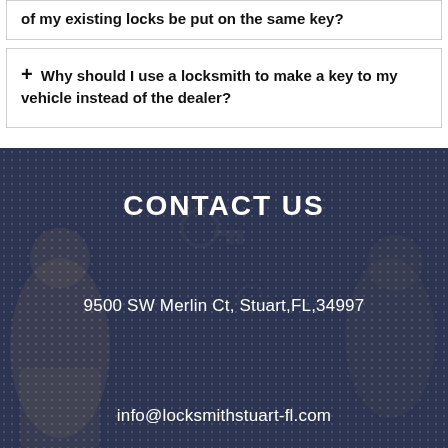of my existing locks be put on the same key?
+ Why should I use a locksmith to make a key to my vehicle instead of the dealer?
CONTACT US
9500 SW Merlin Ct, Stuart,FL,34997
info@locksmithstuart-fl.com